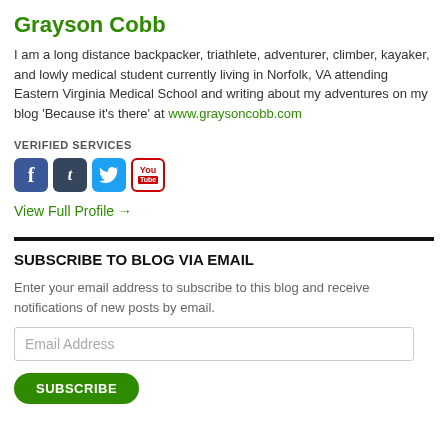Grayson Cobb
I am a long distance backpacker, triathlete, adventurer, climber, kayaker, and lowly medical student currently living in Norfolk, VA attending Eastern Virginia Medical School and writing about my adventures on my blog 'Because it's there' at www.graysoncobb.com
VERIFIED SERVICES
[Figure (other): Social media icons: Facebook, Tumblr, Twitter, YouTube]
View Full Profile →
SUBSCRIBE TO BLOG VIA EMAIL
Enter your email address to subscribe to this blog and receive notifications of new posts by email.
Email Address
SUBSCRIBE